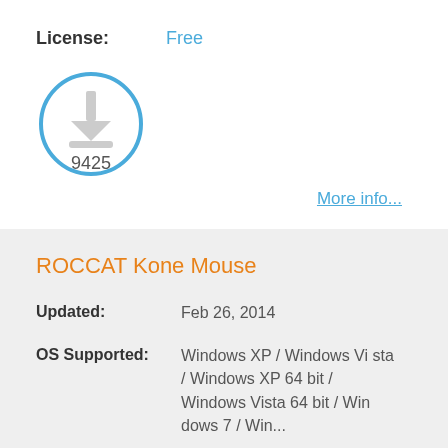License: Free
[Figure (infographic): Download circle icon with download arrow and count 9425]
More info...
ROCCAT Kone Mouse
Updated: Feb 26, 2014
OS Supported: Windows XP / Windows Vista / Windows XP 64 bit / Windows Vista 64 bit / Windows 7 / Win...